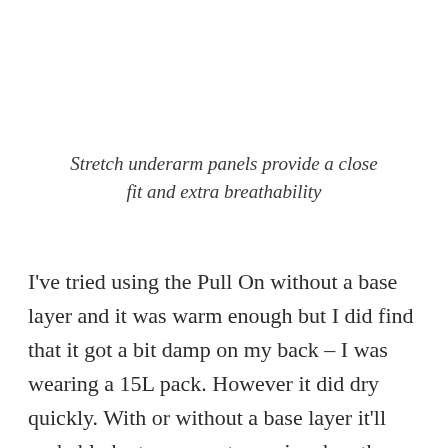Stretch underarm panels provide a close fit and extra breathability
I've tried using the Pull On without a base layer and it was warm enough but I did find that it got a bit damp on my back – I was wearing a 15L pack. However it did dry quickly. With or without a base layer it'll probably be too warm to run in when the temperature picks up. I